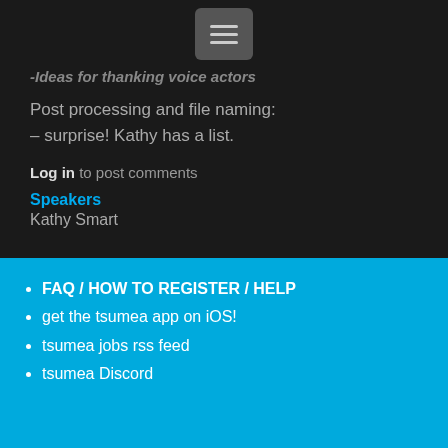-Ideas for thanking voice actors
Post processing and file naming:
– surprise! Kathy has a list.
Log in to post comments
Speakers
Kathy Smart
FAQ / HOW TO REGISTER / HELP
get the tsumea app on iOS!
tsumea jobs rss feed
tsumea Discord